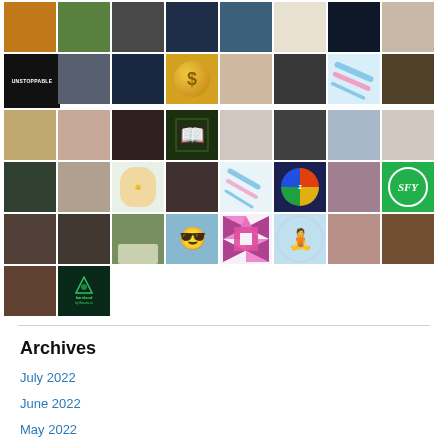[Figure (other): Grid of avatar/profile thumbnails — approximately 42 small square images arranged in 6 rows of 8 (with last row partial). Images include photos of people, logos, icons (dollar coin, credit repair sign, diagonal striped logos, SFY green circle, Z-logo, quilt pattern, yoga figure, bareland logo, cartoon avatar).]
Archives
July 2022
June 2022
May 2022
April 2022